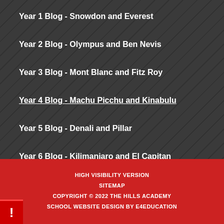Year 1 Blog - Snowdon and Everest
Year 2 Blog - Olympus and Ben Nevis
Year 3 Blog - Mont Blanc and Fitz Roy
Year 4 Blog - Machu Picchu and Kinabulu
Year 5 Blog - Denali and Pillar
Year 6 Blog - Kilimanjaro and El Capitan
HIGH VISIBILITY VERSION
SITEMAP
COPYRIGHT © 2022 THE HILLS ACADEMY
SCHOOL WEBSITE DESIGN BY E4EDUCATION